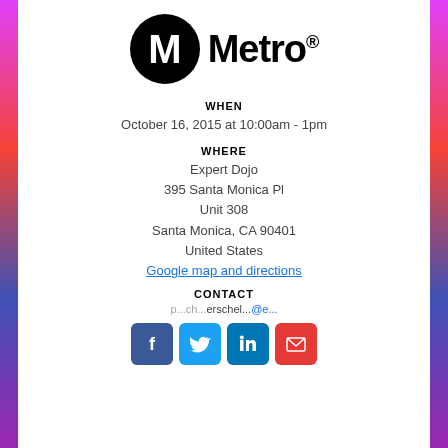[Figure (logo): Metro logo: black circle with white M, followed by bold text 'Metro' with registered trademark symbol]
WHEN
October 16, 2015 at 10:00am - 1pm
WHERE
Expert Dojo
395 Santa Monica Pl
Unit 308
Santa Monica, CA 90401
United States
Google map and directions
CONTACT
[Figure (infographic): Social media icons: Facebook (blue), Twitter (light blue), LinkedIn (dark blue), Email (red)]